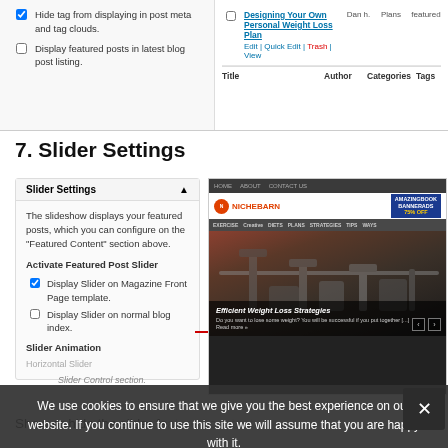[Figure (screenshot): WordPress admin panel showing tag/post settings on left and a posts list on right with a post titled 'Designing Your Own Personal Weight Loss Plan']
7. Slider Settings
[Figure (screenshot): Slider Settings panel on left showing options including 'Activate Featured Post Slider', 'Display Slider on Magazine Front Page template', 'Display Slider on normal blog index', and 'Slider Animation'. On the right is a screenshot of the NicheBarn website showing a gym/fitness hero image with 'Efficient Weight Loss Strategies' overlay. A red arrow points from the checkbox to the website screenshot.]
We use cookies to ensure that we give you the best experience on our website. If you continue to use this site we will assume that you are happy with it.
Slider Control section.
Show or hide the slider featured content.